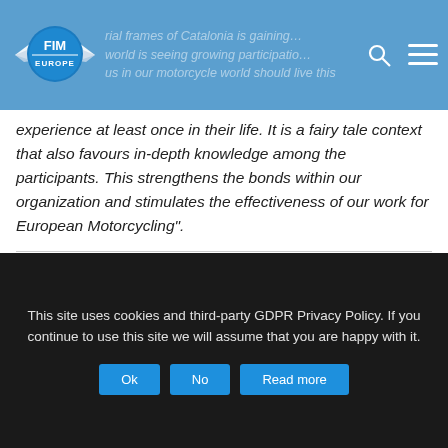FIM Europe logo and navigation header
experience at least once in their life. It is a fairy tale context that also favours in-depth knowledge among the participants. This strengthens the bonds within our organization and stimulates the effectiveness of our work for European Motorcycling".
Visit our FIM Europe Club Experience page:
https://www.fim-europe.com/fim-europe-club/
[Figure (other): Social sharing buttons row: Facebook, Twitter, Google+, LinkedIn]
This site uses cookies and third-party GDPR Privacy Policy. If you continue to use this site we will assume that you are happy with it.
Ok  No  Read more